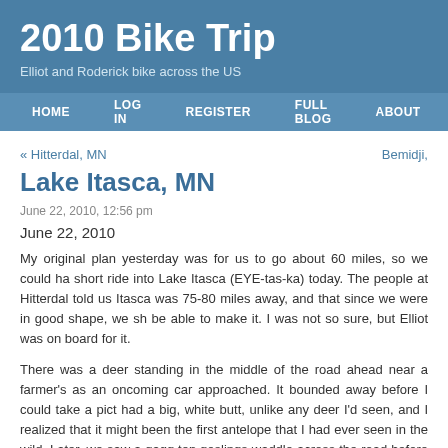2010 Bike Trip
Elliot and Roderick bike across the US
HOME   LOG IN   REGISTER   FULL BLOG   ABOUT
« Hitterdal, MN
Bemidji,
Lake Itasca, MN
June 22, 2010, 12:56 pm
June 22, 2010
My original plan yesterday was for us to go about 60 miles, so we could ha short ride into Lake Itasca (EYE-tas-ka) today. The people at Hitterdal told us Itasca was 75-80 miles away, and that since we were in good shape, we sh be able to make it. I was not so sure, but Elliot was on board for it.
There was a deer standing in the middle of the road ahead near a farmer's as an oncoming car approached. It bounded away before I could take a pict had a big, white butt, unlike any deer I'd seen, and I realized that it might been the first antelope that I had ever seen in the wild. Later, we saw a gagg ten goslings waddle across the road before us. I thought they were full geese, because they were about 2 feet tall, but then the mother followed, was 3 feet. This is common on the road – experiences captured only in mem